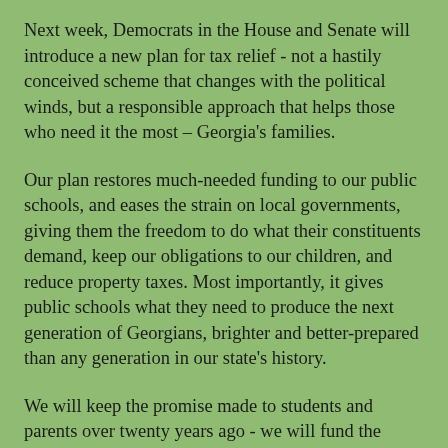Next week, Democrats in the House and Senate will introduce a new plan for tax relief - not a hastily conceived scheme that changes with the political winds, but a responsible approach that helps those who need it the most – Georgia's families.
Our plan restores much-needed funding to our public schools, and eases the strain on local governments, giving them the freedom to do what their constituents demand, keep our obligations to our children, and reduce property taxes. Most importantly, it gives public schools what they need to produce the next generation of Georgians, brighter and better-prepared than any generation in our state's history.
We will keep the promise made to students and parents over twenty years ago - we will fund the Quality Basic Education Act, and we will create the some of the best schools in the nation. Ideas like this do not come from us, the Democratic legislators, but from what we hear from our constituents every day in our schools, our